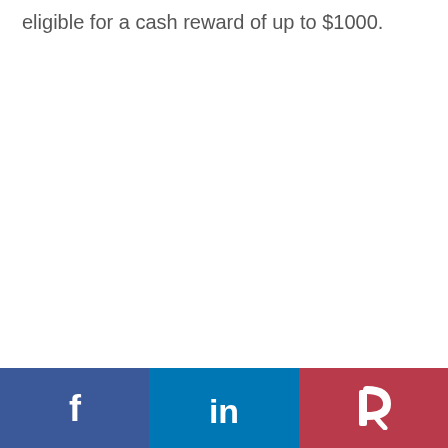eligible for a cash reward of up to $1000.
Social share bar with Facebook, LinkedIn, and Parler icons